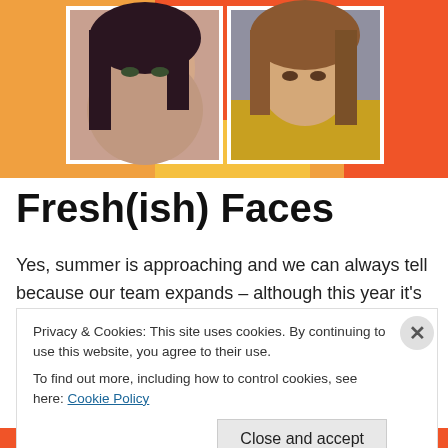[Figure (photo): Two portraits of young women on an orange and red geometric background. Left: woman with dark hair. Right: woman with light brown wavy hair in yellow top.]
Fresh(ish) Faces
Yes, summer is approaching and we can always tell because our team expands – although this year it's a
Privacy & Cookies: This site uses cookies. By continuing to use this website, you agree to their use. To find out more, including how to control cookies, see here: Cookie Policy
Close and accept